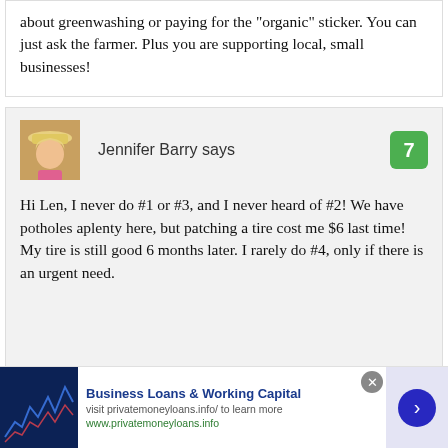about greenwashing or paying for the "organic" sticker. You can just ask the farmer. Plus you are supporting local, small businesses!
Jennifer Barry says
Hi Len, I never do #1 or #3, and I never heard of #2! We have potholes aplenty here, but patching a tire cost me $6 last time! My tire is still good 6 months later. I rarely do #4, only if there is an urgent need.
Business Loans & Working Capital
visit privatemoneyloans.info/ to learn more
www.privatemoneyloans.info